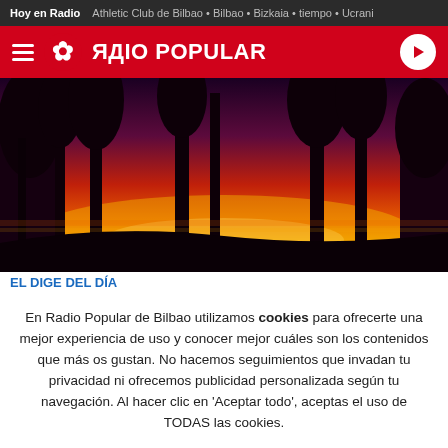Hoy en Radio   Athletic Club de Bilbao • Bilbao • Bizkaia • tiempo • Ucrani
ЯДIO POPULAR
[Figure (photo): Sunset landscape with silhouetted trees against a vivid red, orange and purple sky]
EL DIGE DEL DÍA
En Radio Popular de Bilbao utilizamos cookies para ofrecerte una mejor experiencia de uso y conocer mejor cuáles son los contenidos que más os gustan. No hacemos seguimientos que invadan tu privacidad ni ofrecemos publicidad personalizada según tu navegación. Al hacer clic en 'Aceptar todo', aceptas el uso de TODAS las cookies.
Rechazar y salir   Aceptar todas y continuar   Leer más